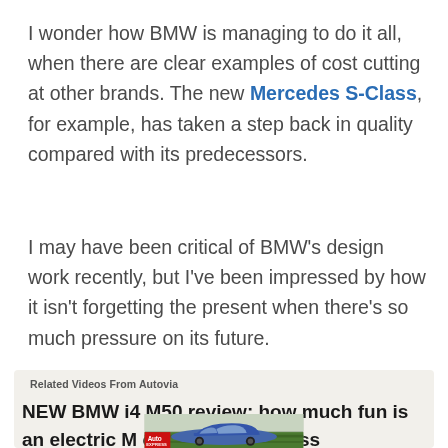I wonder how BMW is managing to do it all, when there are clear examples of cost cutting at other brands. The new Mercedes S-Class, for example, has taken a step back in quality compared with its predecessors.
I may have been critical of BMW's design work recently, but I've been impressed by how it isn't forgetting the present when there's so much pressure on its future.
Related Videos From Autovia
NEW BMW i4 M50 review: how much fun is an electric M car? | Auto Express
[Figure (photo): Video thumbnail showing a blue BMW i4 M50 on a road with green fields in the background, Auto Express logo overlay in red and white in the top-left corner.]